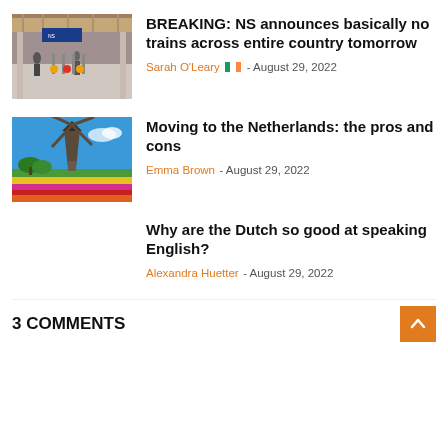[Figure (photo): Train station interior with passengers and blue signage]
BREAKING: NS announces basically no trains across entire country tomorrow
Sarah O'Leary 🇮🇪 - August 29, 2022
[Figure (photo): Dutch windmill with tulip fields under blue sky]
Moving to the Netherlands: the pros and cons
Emma Brown - August 29, 2022
Why are the Dutch so good at speaking English?
Alexandra Huetter - August 29, 2022
3 COMMENTS